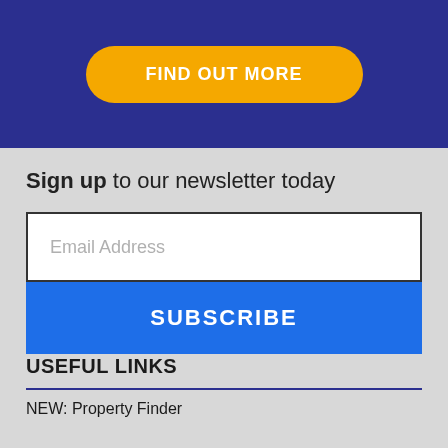[Figure (other): Dark blue banner with an orange rounded button labeled FIND OUT MORE]
Sign up to our newsletter today
[Figure (other): Email Address input field with placeholder text]
SUBSCRIBE
USEFUL LINKS
NEW: Property Finder